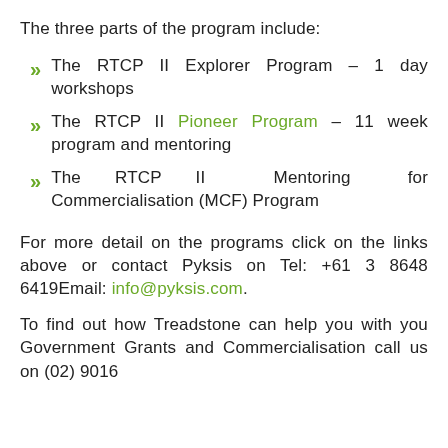The three parts of the program include:
The RTCP II Explorer Program – 1 day workshops
The RTCP II Pioneer Program – 11 week program and mentoring
The RTCP II Mentoring for Commercialisation (MCF) Program
For more detail on the programs click on the links above or contact Pyksis on Tel: +61 3 8648 6419Email: info@pyksis.com.
To find out how Treadstone can help you with you Government Grants and Commercialisation call us on (02) 9016